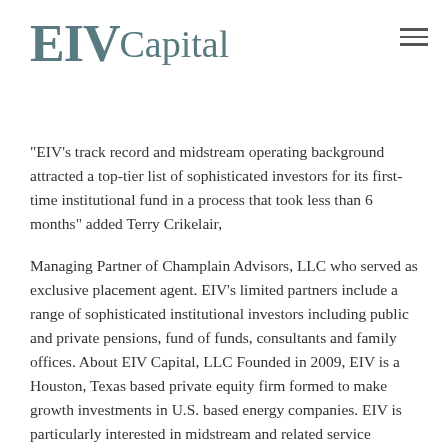EIV Capital
“EIV’s track record and midstream operating background attracted a top-tier list of sophisticated investors for its first-time institutional fund in a process that took less than 6 months” added Terry Crikelair,
Managing Partner of Champlain Advisors, LLC who served as exclusive placement agent. EIV’s limited partners include a range of sophisticated institutional investors including public and private pensions, fund of funds, consultants and family offices. About EIV Capital, LLC Founded in 2009, EIV is a Houston, Texas based private equity firm formed to make growth investments in U.S. based energy companies. EIV is particularly interested in midstream and related service businesses with an emphasis on energy infrastructure and businesses involved in the processing, transportation, storage, or conversion of oil, natural gas and refined products. The target equity investment size ranges from $10 million to $40 million. For more information, please visit www.eivcapital.com or contact